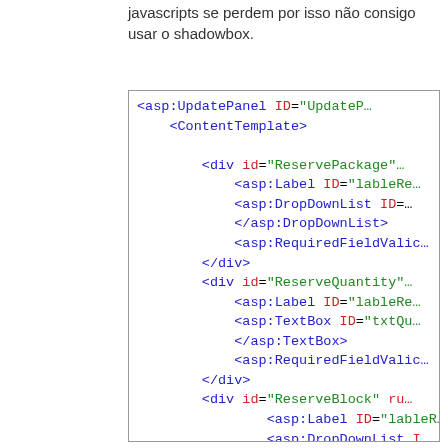javascripts se perdem por isso não consigo usar o shadowbox.
[Figure (screenshot): Code snippet showing ASP.NET markup with UpdatePanel, ContentTemplate, and div blocks with asp:Label, asp:DropDownList, asp:RequiredFieldValidator, asp:TextBox controls.]